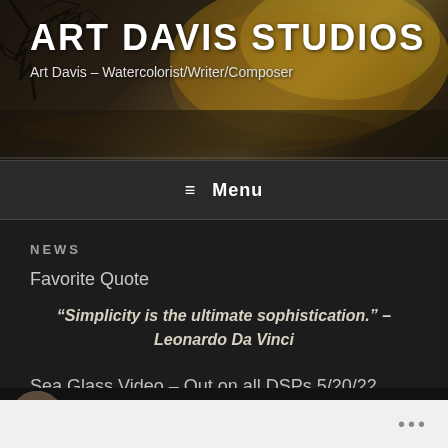ART DAVIS STUDIOS
Art Davis – Watercolorist/Writer/Composer
≡ Menu
NEWS
Favorite Quote
“Simplicity is the ultimate sophistication.” – Leonardo Da Vinci
Sea Glass Video – Out on all DSPs 5/20/22
[Figure (screenshot): Video thumbnail showing Sea Glass video preview with circular profile image on dark background]